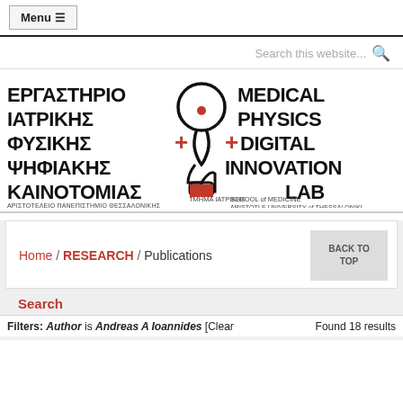Menu ≡
Search this website...
[Figure (logo): Medical Physics + Digital Innovation Lab logo — Aristotle University of Thessaloniki, School of Medicine. Features Greek text (ΕΡΓΑΣΤΗΡΙΟ ΙΑΤΡΙΚΗΣ ΦΥΣΙΚΗΣ + ΨΗΦΙΑΚΗΣ ΚΑΙΝΟΤΟΜΙΑΣ) alongside English text (MEDICAL PHYSICS + DIGITAL INNOVATION LAB) with a stylized lightbulb/stethoscope icon in the center.]
Home / RESEARCH / Publications
Search
BACK TO TOP
Filters: Author is Andreas A Ioannides [Clear   Found 18 results